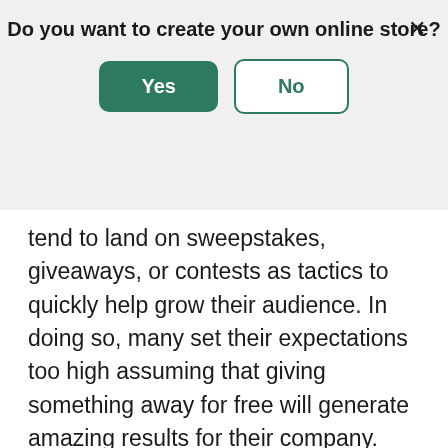Do you want to create your own online store?
[Figure (screenshot): Modal dialog with Yes (green filled button) and No (green outlined button) options, and an X close button in the top right]
tend to land on sweepstakes, giveaways, or contests as tactics to quickly help grow their audience. In doing so, many set their expectations too high assuming that giving something away for free will generate amazing results for their company.
This isn't always the case though. Many businesses run sweepstakes and contests with high hopes, but their promotions end up falling short of the expected outcome. In turn, this leaves them with a bad taste in their mouth and